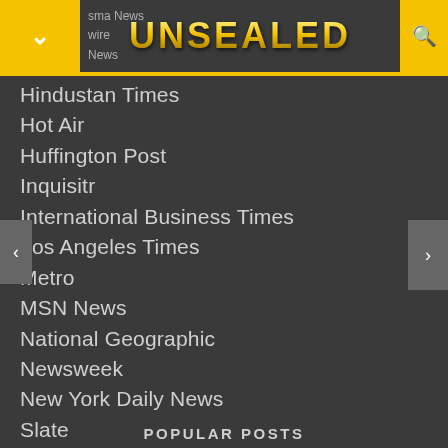UNSEALED
Hindustan Times
Hot Air
Huffington Post
Inquisitr
International Business Times
Los Angeles Times
Metro
MSN News
National Geographic
Newsweek
New York Daily News
Slate
The Boston Globe
The Christian Post
The Daily Caller
The Guardian
The Sun
The Washington Post
POPULAR POSTS